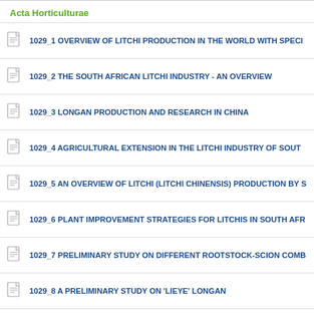Acta Horticulturae
1029_1 OVERVIEW OF LITCHI PRODUCTION IN THE WORLD WITH SPECI...
1029_2 THE SOUTH AFRICAN LITCHI INDUSTRY - AN OVERVIEW
1029_3 LONGAN PRODUCTION AND RESEARCH IN CHINA
1029_4 AGRICULTURAL EXTENSION IN THE LITCHI INDUSTRY OF SOUT...
1029_5 AN OVERVIEW OF LITCHI (LITCHI CHINENSIS) PRODUCTION BY S...
1029_6 PLANT IMPROVEMENT STRATEGIES FOR LITCHIS IN SOUTH AFR...
1029_7 PRELIMINARY STUDY ON DIFFERENT ROOTSTOCK-SCION COMB...
1029_8 A PRELIMINARY STUDY ON 'LIEYE' LONGAN
1029_9 CONSTRUCTION OF CORE COLLECTION OF LYCHEE BY SSR MA...
1029_10 COMPARISON OF ACCESSIONS CONSERVED IN DIFFERENT E...